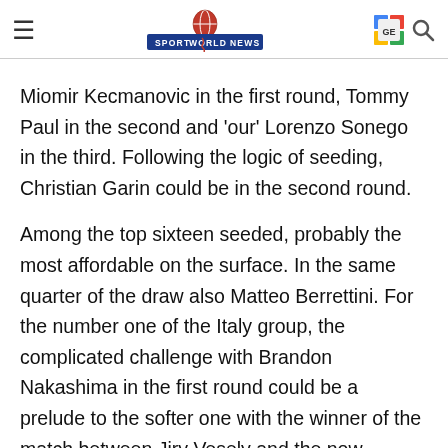Sport World News
Miomir Kecmanovic in the first round, Tommy Paul in the second and 'our' Lorenzo Sonego in the third. Following the logic of seeding, Christian Garin could be in the second round.
Among the top sixteen seeded, probably the most affordable on the surface. In the same quarter of the draw also Matteo Berrettini. For the number one of the Italy group, the complicated challenge with Brandon Nakashima in the first round could be a prelude to the softer one with the winner of the match between Jiry Vesely and the now American child prodigy Stefan Kozlov.